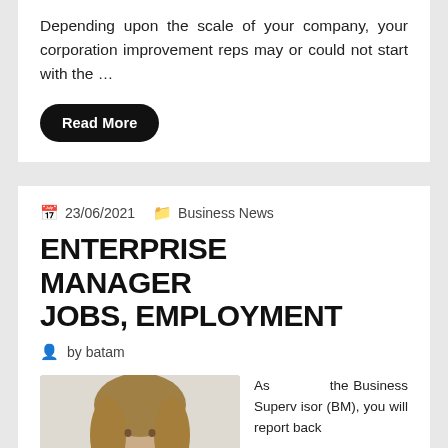Depending upon the scale of your company, your corporation improvement reps may or could not start with the …
Read More
23/06/2021   Business News
ENTERPRISE MANAGER JOBS, EMPLOYMENT
by batam
[Figure (photo): Portrait of a woman with long brown/blonde hair, smiling, against a light background]
As the Business Supervisor (BM), you will report back